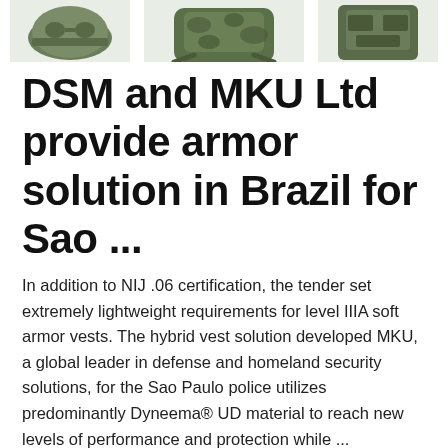[Figure (photo): Three military/tactical product images at top of page — helmet, camouflage backpack, and tactical gear on dark green background]
DSM and MKU Ltd provide armor solution in Brazil for Sao ...
In addition to NIJ .06 certification, the tender set extremely lightweight requirements for level IIIA soft armor vests. The hybrid vest solution developed MKU, a global leader in defense and homeland security solutions, for the Sao Paulo police utilizes predominantly Dyneema® UD material to reach new levels of performance and protection while ...
[Figure (photo): Three Deekon branded military product images — military rank patch, camouflage boonie hat, and military mess kit/canteen set]